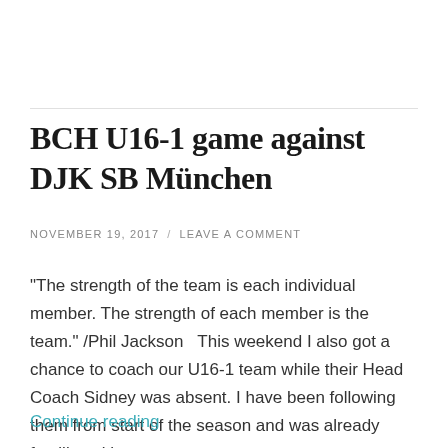BCH U16-1 game against DJK SB München
NOVEMBER 19, 2017 / LEAVE A COMMENT
"The strength of the team is each individual member. The strength of each member is the team." /Phil Jackson   This weekend I also got a chance to coach our U16-1 team while their Head Coach Sidney was absent. I have been following them from start of the season and was already familiar with some …
Continue reading